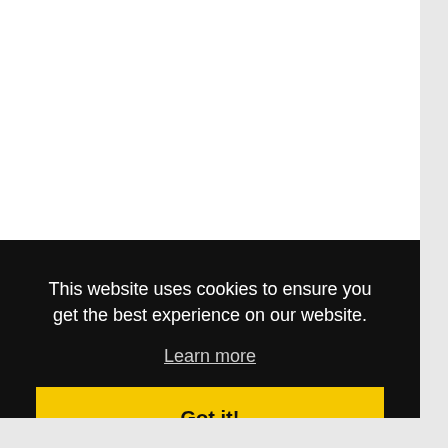This website uses cookies to ensure you get the best experience on our website.
Learn more
Got it!